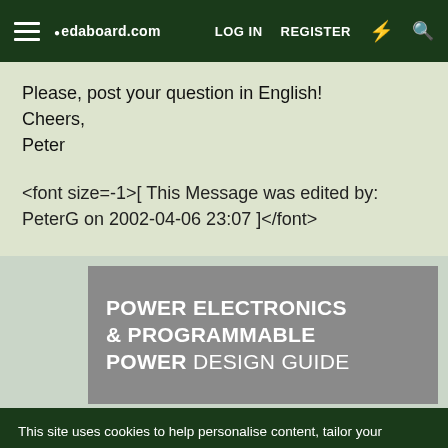edaboard.com | LOG IN | REGISTER
Please, post your question in English!
Cheers,
Peter
<font size=-1>[ This Message was edited by: PeterG on 2002-04-06 23:07 ]</font>
[Figure (other): Advertisement banner: POWER ELECTRONICS & PROGRAMMABLE POWER DESIGN GUIDE on grey background]
This site uses cookies to help personalise content, tailor your experience and to keep you logged in if you register.
By continuing to use this site, you are consenting to our use of cookies.